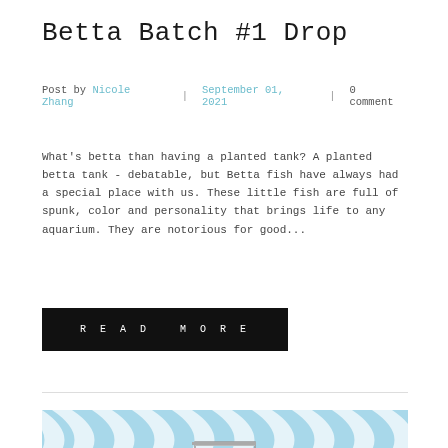Betta Batch #1 Drop
Post by Nicole Zhang | September 01, 2021 | 0 comment
What's betta than having a planted tank? A planted betta tank - debatable, but Betta fish have always had a special place with us. These little fish are full of spunk, color and personality that brings life to any aquarium. They are notorious for good...
READ MORE
[Figure (photo): Blue and white zebra-stripe patterned background with a partial view of an aquarium tank at the bottom center]